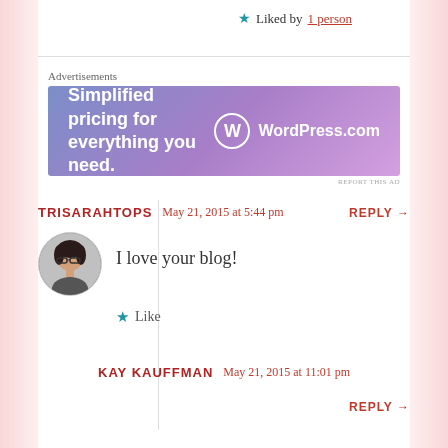★ Liked by 1 person
Advertisements
[Figure (other): WordPress.com advertisement banner: 'Simplified pricing for everything you need.' with WordPress.com logo on purple-blue gradient background]
REPORT THIS AD
TRISARAHTOPS   May 21, 2015 at 5:44 pm   REPLY →
[Figure (photo): Circular avatar photo of a person with glasses and dark hair]
I love your blog!
★ Like
KAY KAUFFMAN   May 21, 2015 at 11:01 pm   REPLY →